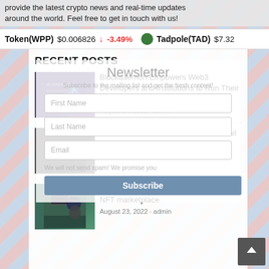provide the latest crypto news and real-time updates around the world. Feel free to get in touch with us!
Token(WPP) $0.006826 ↓ -3.49% Tadpole(TAD) $7.32
RECENT POSTS
Newsletter
Subscribe to the mailing list and get the fresh content!
First Name
Last Name
Email
We will not send spam! We promise you
Subscribe
Blockdaemon Empowers Web3 Developers and Institutions to Run Their Own Collator Nodes on Astar Network
August 24, 2022 · admin
The X.LA Metaverse Revealed In Detail
August 23, 2022 · admin
Chingari launches the first ever video-NFT marketplace
August 23, 2022 · admin